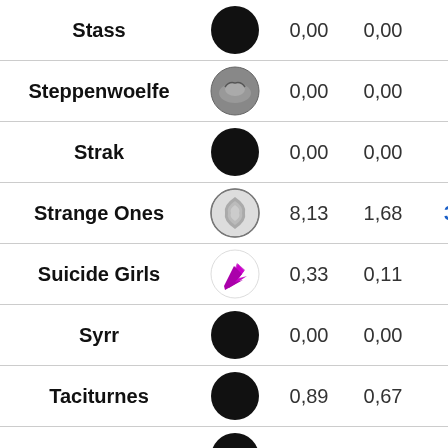| Name | Icon | Col1 | Col2 | Col3 |
| --- | --- | --- | --- | --- |
| Stass | [icon] | 0,00 | 0,00 | 0,19 |
| Steppenwoelfe | [icon] | 0,00 | 0,00 | 0,68 |
| Strak | [icon] | 0,00 | 0,00 | 0,07 |
| Strange Ones | [icon] | 8,13 | 1,68 | 38,15 |
| Suicide Girls | [icon] | 0,33 | 0,11 | 3,98 |
| Syrr | [icon] | 0,00 | 0,00 | 0,13 |
| Taciturnes | [icon] | 0,89 | 0,67 | 0,00 |
| Takuo | [icon] | 0,00 | 0,00 | 0,03 |
| Talian Zu | [icon] | 0,00 | 0,00 | 0,07 |
| Tears of | [icon] | 0,00 | 0,00 | 0,69 |